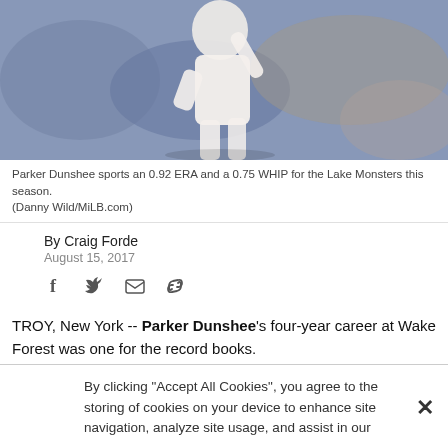[Figure (photo): Baseball pitcher in white uniform mid-wind-up, blurred crowd background]
Parker Dunshee sports an 0.92 ERA and a 0.75 WHIP for the Lake Monsters this season. (Danny Wild/MiLB.com)
By Craig Forde
August 15, 2017
[Figure (other): Social sharing icons: Facebook, Twitter, Email, Link]
TROY, New York -- Parker Dunshee's four-year career at Wake Forest was one for the record books.
His pro career has started in similar fashion and the Lake Monsters right-hander parlayed that success into his first All-Star selection.
"I think Wake did a good job in preparing myself for the
By clicking “Accept All Cookies”, you agree to the storing of cookies on your device to enhance site navigation, analyze site usage, and assist in our